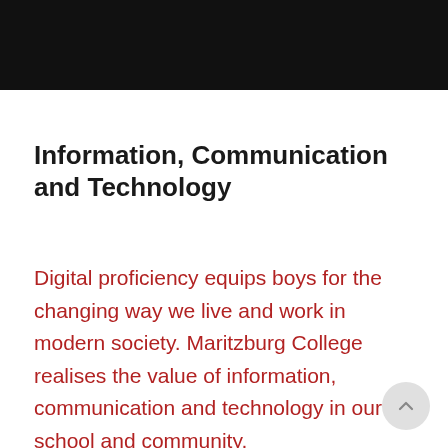[Figure (photo): Black banner/header bar at the top of the page]
Information, Communication and Technology
Digital proficiency equips boys for the changing way we live and work in modern society. Maritzburg College realises the value of information, communication and technology in our school and community.